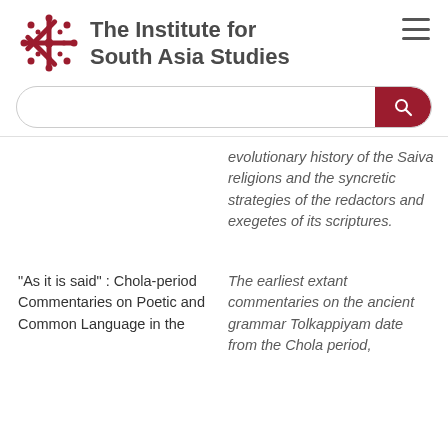The Institute for South Asia Studies
evolutionary history of the Saiva religions and the syncretic strategies of the redactors and exegetes of its scriptures.
“As it is said” : Chola-period Commentaries on Poetic and Common Language in the
The earliest extant commentaries on the ancient grammar Tolkappiyam date from the Chola period,